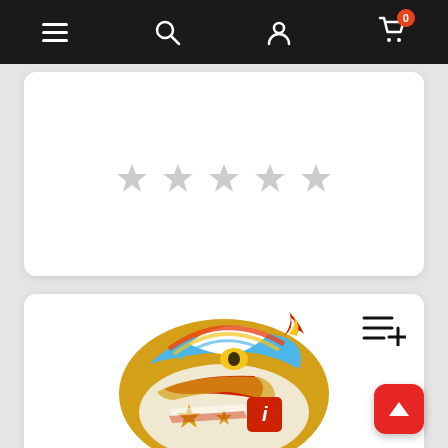Navigation bar with hamburger menu, search, user, and cart (0 items)
[Figure (photo): Five empty grey star rating icons centered on white card (partially visible top card)]
[Figure (photo): Icon Airflite Helmet Freedom Spitter Gold motorcycle helmet with colorful eagle/patriotic design in gold, red, blue, white. Shown on white card product listing.]
Icon Airflite Helmet Freedom Spitter Gold
CAD $448.50  $426.08
[Figure (photo): Five empty grey star rating icons for product review]